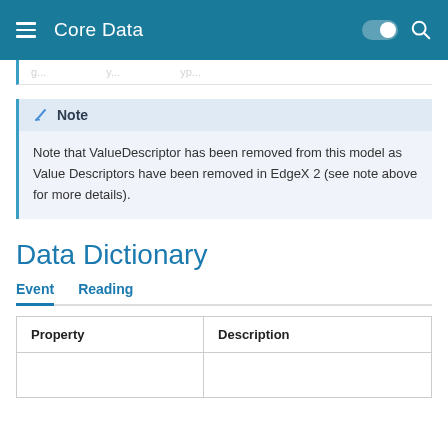Core Data
Note that ValueDescriptor has been removed from this model as Value Descriptors have been removed in EdgeX 2 (see note above for more details).
Data Dictionary
Event   Reading
| Property | Description |
| --- | --- |
|  |  |